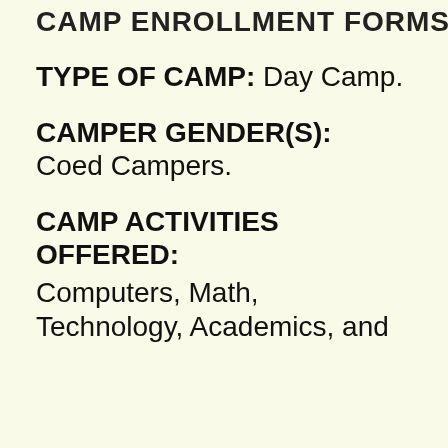CAMP ENROLLMENT FORMS 2...
TYPE OF CAMP: Day Camp.
CAMPER GENDER(S): Coed Campers.
CAMP ACTIVITIES OFFERED: Computers, Math, Technology, Academics, and...